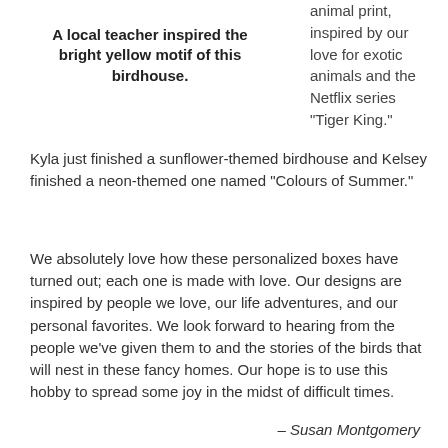A local teacher inspired the bright yellow motif of this birdhouse.
animal print, inspired by our love for exotic animals and the Netflix series "Tiger King." Kyla just finished a sunflower-themed birdhouse and Kelsey finished a neon-themed one named "Colours of Summer."
We absolutely love how these personalized boxes have turned out; each one is made with love. Our designs are inspired by people we love, our life adventures, and our personal favorites. We look forward to hearing from the people we've given them to and the stories of the birds that will nest in these fancy homes. Our hope is to use this hobby to spread some joy in the midst of difficult times.
– Susan Montgomery